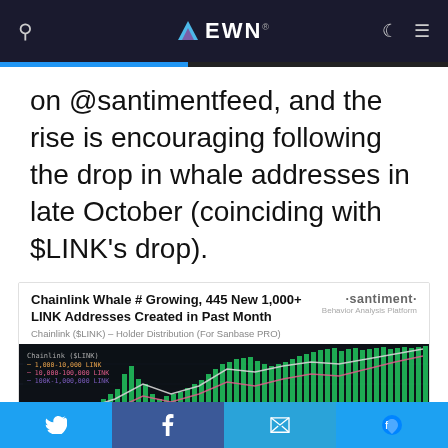EWN
on @santimentfeed, and the rise is encouraging following the drop in whale addresses in late October (coinciding with $LINK's drop).
[Figure (screenshot): Santiment chart card showing 'Chainlink Whale # Growing, 445 New 1,000+ LINK Addresses Created in Past Month' with a dark-themed line and bar chart showing Chainlink ($LINK) Holder Distribution data from Sanbase PRO. Chart features green bars and colored lines on a dark background.]
Chainlink Whale # Growing, 445 New 1,000+ LINK Addresses Created in Past Month
Chainlink ($LINK) – Holder Distribution (For Sanbase PRO)